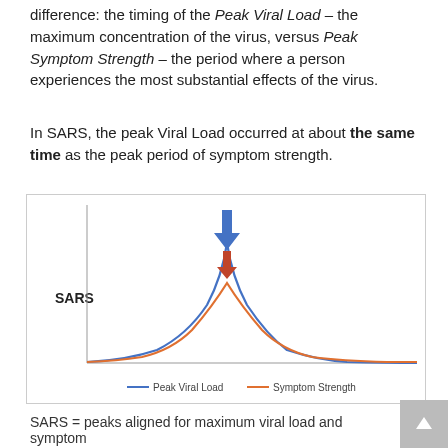difference: the timing of the Peak Viral Load – the maximum concentration of the virus, versus Peak Symptom Strength – the period where a person experiences the most substantial effects of the virus.
In SARS, the peak Viral Load occurred at about the same time as the peak period of symptom strength.
[Figure (continuous-plot): SARS diagram showing two bell curves: blue curve (Peak Viral Load) and orange curve (Symptom Strength) with nearly identical peaks at the same point in time. A blue downward arrow marks the peak of the blue curve and an orange downward arrow marks the peak of the orange curve, both pointing to the same x-axis position. Label 'SARS' appears on the left. Legend shows blue line = Peak Viral Load, orange line = Symptom Strength.]
SARS = peaks aligned for maximum viral load and symptom